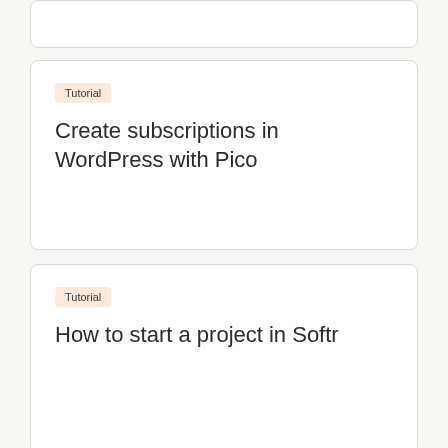Tutorial
Create subscriptions in WordPress with Pico
Tutorial
How to start a project in Softr